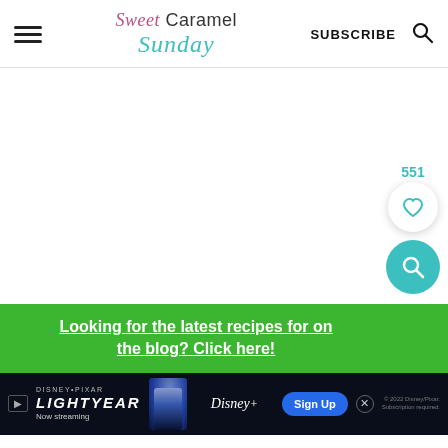Sweet Caramel Sunday — SUBSCRIBE
[Figure (screenshot): White content area with like/save badge showing count 551 and heart icon, and a teal search button]
Looking for the latest recipes for on the blog? Click here!
[Figure (photo): Disney Pixar Lightyear advertisement banner: Now streaming on Disney+, Sign Up button]